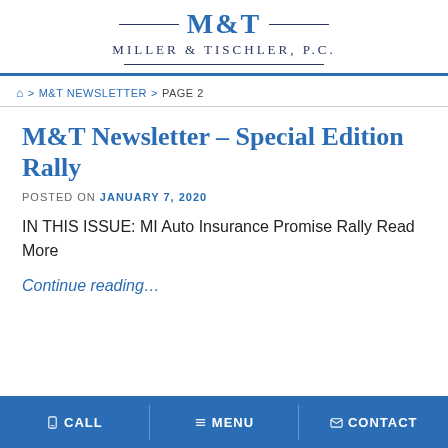M&T — Miller & Tischler, P.C.
🏠 > M&T NEWSLETTER > PAGE 2
M&T Newsletter – Special Edition Rally
POSTED ON JANUARY 7, 2020
IN THIS ISSUE: MI Auto Insurance Promise Rally Read More
Continue reading…
CALL  MENU  CONTACT